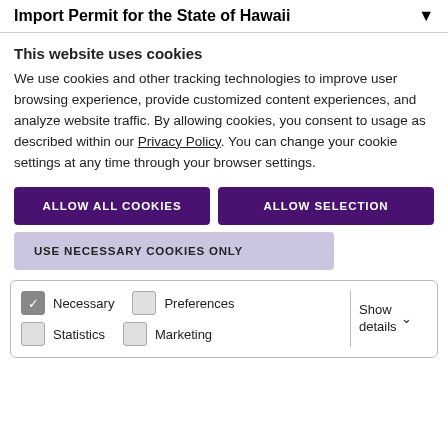Import Permit for the State of Hawaii
This website uses cookies
We use cookies and other tracking technologies to improve user browsing experience, provide customized content experiences, and analyze website traffic. By allowing cookies, you consent to usage as described within our Privacy Policy. You can change your cookie settings at any time through your browser settings.
ALLOW ALL COOKIES
ALLOW SELECTION
USE NECESSARY COOKIES ONLY
| Necessary | Preferences | Show details |
| --- | --- | --- |
| ✓ |  |  |
| Statistics | Marketing |  |